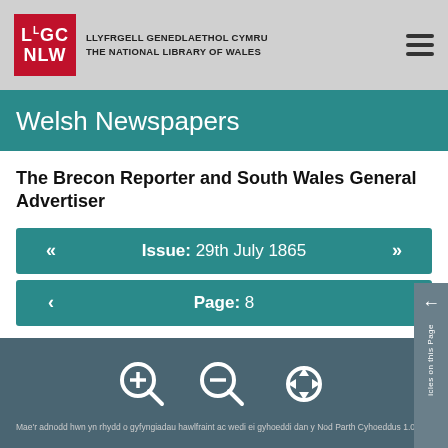LLYFRGELL GENEDLAETHOL CYMRU THE NATIONAL LIBRARY OF WALES
Welsh Newspapers
The Brecon Reporter and South Wales General Advertiser
Issue: 29th July 1865
Page: 8
[Figure (infographic): Three icon buttons: zoom in (magnifying glass with plus), zoom out (magnifying glass with minus), and pan/move (four-directional arrow cross)]
Mae'r adnodd hwn yn rhydd o gyfyngiadau hawlfraint ac wedi ei gyhoeddi dan y Nod Parth Cyhoeddus 1.0.